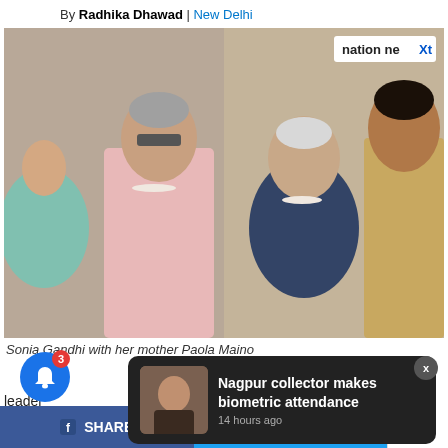By Radhika Dhawad | New Delhi
[Figure (photo): Sonia Gandhi with her mother Paola Maino — a composite of two photos showing women at public events. A 'nation neXt' watermark badge appears in top-right corner.]
Sonia Gandhi with her mother Paola Maino
leader
[Figure (photo): Notification popup overlay showing a thumbnail of a man and the text 'Nagpur collector makes biometric attendance' with timestamp '14 hours ago']
SHARE   TWEET   ...